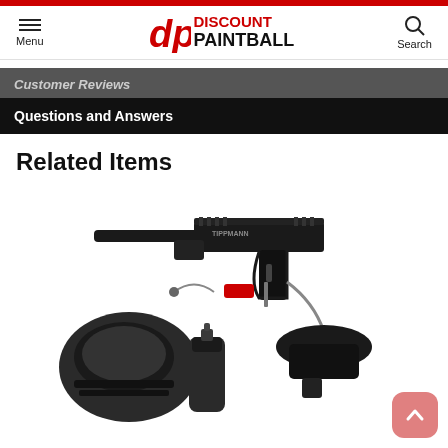Discount Paintball — Menu | Search
Customer Reviews
Questions and Answers
Related Items
[Figure (photo): Tippmann paintball gun marker kit shown with mask, CO2 tank, and hopper accessories]